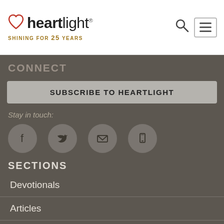heartlight® SHINING FOR 25 YEARS
CONNECT
SUBSCRIBE TO HEARTLIGHT
Stay in touch:
[Figure (illustration): Four social media icon circles: Facebook, Twitter, Email, Mobile]
SECTIONS
Devotionals
Articles
Artwork
Home